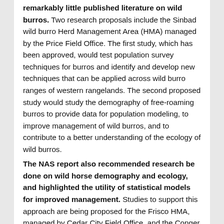remarkably little published literature on wild burros. Two research proposals include the Sinbad wild burro Herd Management Area (HMA) managed by the Price Field Office. The first study, which has been approved, would test population survey techniques for burros and identify and develop new techniques that can be applied across wild burro ranges of western rangelands. The second proposed study would study the demography of free-roaming burros to provide data for population modeling, to improve management of wild burros, and to contribute to a better understanding of the ecology of wild burros.
The NAS report also recommended research be done on wild horse demography and ecology, and highlighted the utility of statistical models for improved management. Studies to support this approach are being proposed for the Frisco HMA, managed by Cedar City Field Office, and the Conger HMA, managed by Fillmore Field Office. Specific questions approved in the research for the Conger HMA include quantifying the impacts of sterilizing a portion of